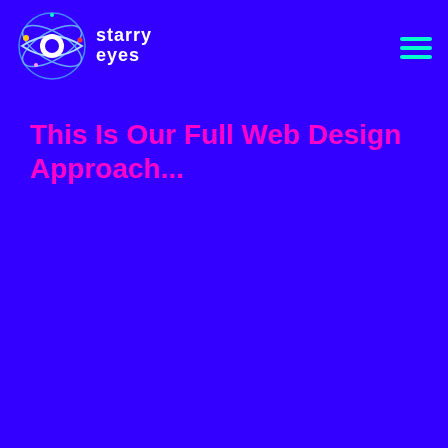[Figure (logo): Starry Eyes logo: eye/orbit graphic with swirling lines and planet dots, white text 'starry eyes' next to it]
[Figure (other): Hamburger menu icon with three cyan/teal horizontal lines]
This Is Our Full Web Design Approach...